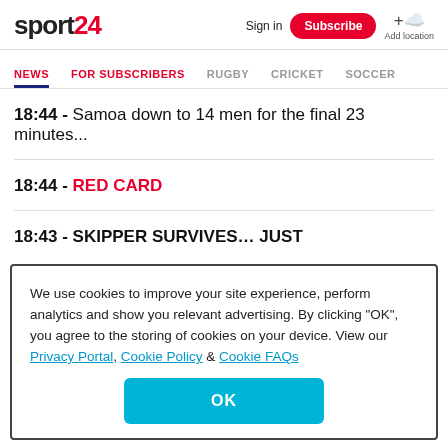sport24 | Sign in | Subscribe | Add location
NEWS | FOR SUBSCRIBERS | RUGBY | CRICKET | SOCCER
18:44 - Samoa down to 14 men for the final 23 minutes...
18:44 - RED CARD
18:43 - SKIPPER SURVIVES... JUST
We use cookies to improve your site experience, perform analytics and show you relevant advertising. By clicking "OK", you agree to the storing of cookies on your device. View our Privacy Portal, Cookie Policy & Cookie FAQs